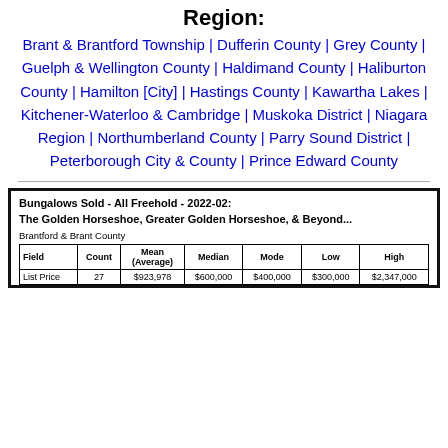Region:
Brant & Brantford Township | Dufferin County | Grey County | Guelph & Wellington County | Haldimand County | Haliburton County | Hamilton [City] | Hastings County | Kawartha Lakes | Kitchener-Waterloo & Cambridge | Muskoka District | Niagara Region | Northumberland County | Parry Sound District | Peterborough City & County | Prince Edward County
| Field | Count | Mean (Average) | Median | Mode | Low | High |
| --- | --- | --- | --- | --- | --- | --- |
| List Price | 27 | $923,978 | $600,000 | $400,000 | $300,000 | $2,347,000 |